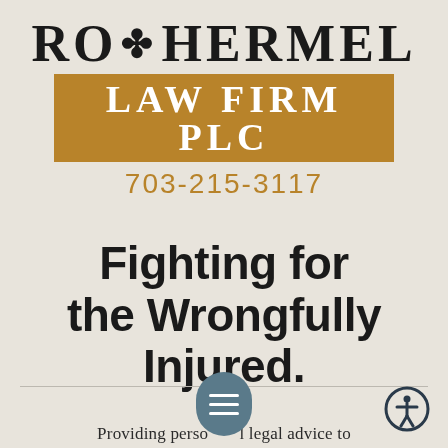[Figure (logo): Rothermel Law Firm PLC logo with fleur-de-lis symbol. Top line reads RO*HERMEL with a decorative fleur-de-lis between O and H, below is a gold/brown bar with LAW FIRM PLC in white text.]
703-215-3117
Fighting for the Wrongfully Injured.
Providing perso     l legal advice to